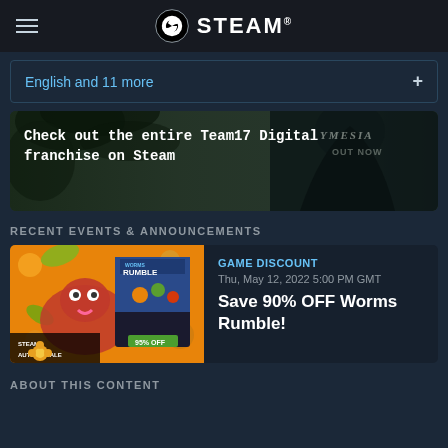STEAM
English and 11 more
[Figure (screenshot): Dark atmospheric banner showing Team17 Digital franchise promotion with a shadowy figure and text 'Check out the entire Team17 Digital franchise on Steam' and 'OUT NOW' with partial game title 'YMESIA']
RECENT EVENTS & ANNOUNCEMENTS
[Figure (screenshot): Steam Autumn Sale promotional image for Worms Rumble showing colorful orange background with cartoon worm character and game cover art with 95% OFF badge]
GAME DISCOUNT
Thu, May 12, 2022 5:00 PM GMT
Save 90% OFF Worms Rumble!
ABOUT THIS CONTENT